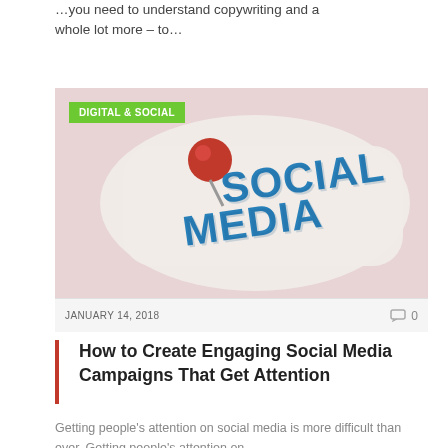…you need to understand copywriting and a whole lot more – to…
[Figure (photo): Social media sticker/badge with 3D blue text spelling 'SOCIAL MEDIA' with a red thumbtack pin on a pink/beige background. A green badge in the upper left reads 'DIGITAL & SOCIAL'.]
JANUARY 14, 2018
0
How to Create Engaging Social Media Campaigns That Get Attention
Getting people's attention on social media is more difficult than ever. Getting people's attention on…